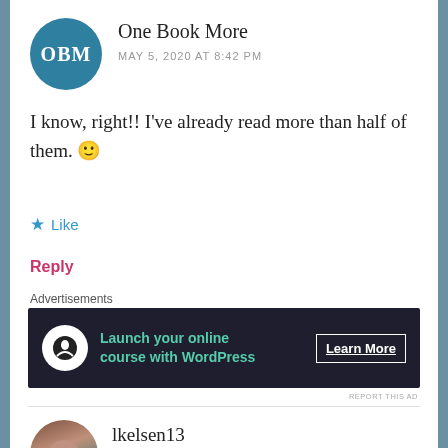[Figure (illustration): Circular teal avatar with white letters OBM]
One Book More
MAY 5, 2020 AT 8:42 PM
I know, right!! I’ve already read more than half of them. 🙂
★ Like
Reply
Advertisements
[Figure (screenshot): Dark advertisement banner: Launch your online course with WordPress — Learn More button]
REPORT THIS AD
[Figure (photo): Circular avatar photo of a woman with brown hair]
lkelsen13
MAY 5, 2020 AT 5:58 PM
Great post! I have Serpent & Dove and Craye on my